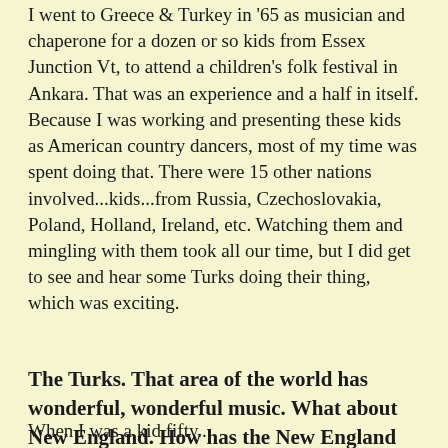I went to Greece & Turkey in '65 as musician and chaperone for a dozen or so kids from Essex Junction Vt, to attend a children's folk festival in Ankara. That was an experience and a half in itself. Because I was working and presenting these kids as American country dancers, most of my time was spent doing that. There were 15 other nations involved...kids...from Russia, Czechoslovakia, Poland, Holland, Ireland, etc. Watching them and mingling with them took all our time, but I did get to see and hear some Turks doing their thing, which was exciting.
The Turks. That area of the world has wonderful, wonderful music. What about New England. How has the New England contra-dancing scene changed in the last fifty years?
When I was a kid fifty...